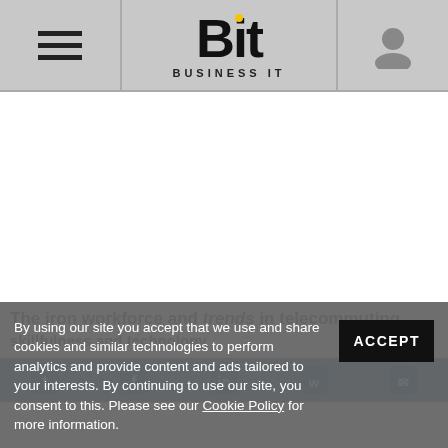Bit - Business IT
[Figure (screenshot): White content/ad area below header]
[Figure (screenshot): Ghosted article title text about workforce and trends in telecommuting, skillfulness, and technology]
By using our site you accept that we use and share cookies and similar technologies to perform analytics and provide content and ads tailored to your interests. By continuing to use our site, you consent to this. Please see our Cookie Policy for more information.